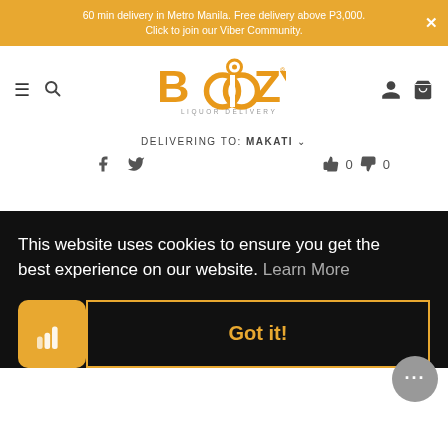60 min delivery in Metro Manila. Free delivery above P3,000. Click to join our Viber Community.
[Figure (logo): Boozy Liquor Delivery logo in orange with circular letters]
DELIVERING TO: MAKATI
0  0
This website uses cookies to ensure you get the best experience on our website. Learn More
Got it!